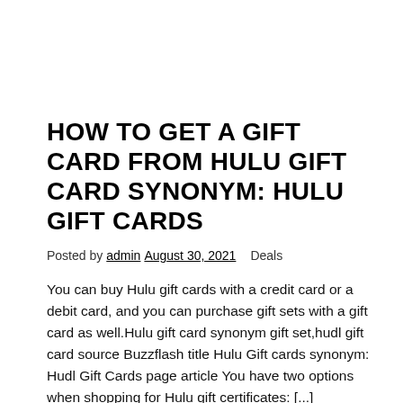HOW TO GET A GIFT CARD FROM HULU GIFT CARD SYNONYM: HULU GIFT CARDS
Posted by admin August 30, 2021   Deals
You can buy Hulu gift cards with a credit card or a debit card, and you can purchase gift sets with a gift card as well.Hulu gift card synonym gift set,hudl gift card source Buzzflash title Hulu Gift cards synonym: Hudl Gift Cards page article You have two options when shopping for Hulu gift certificates: [...]